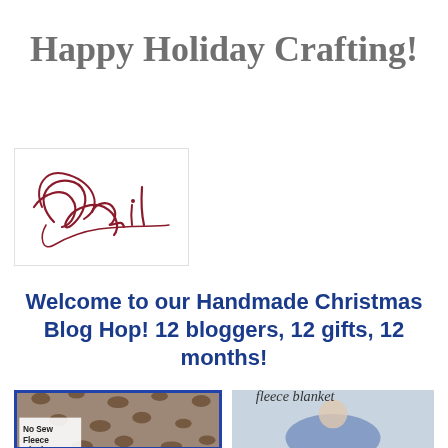Happy Holiday Crafting!
[Figure (illustration): Cursive signature reading 'Gail' in dark red/maroon script on white background with thin border]
Welcome to our Handmade Christmas Blog Hop! 12 bloggers, 12 gifts, 12 months!
[Figure (photo): Photo with blue border showing leopard print fleece fabric with text 'No Sew Fleece Blankets']
[Figure (photo): Photo showing a person wrapped in a fleece blanket with text 'fleece blanket' in cursive at top]